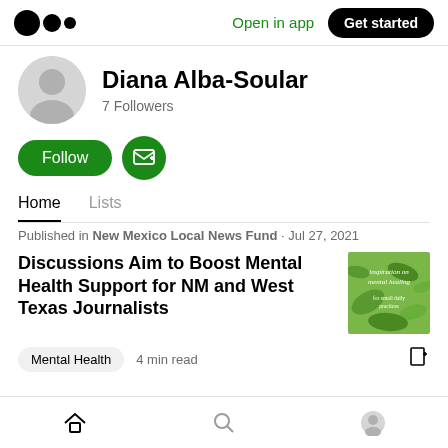Medium logo | Open in app | Get started
Diana Alba-Soular
7 Followers
[Figure (other): Follow button (green pill) and subscribe/email button (green circle)]
Home   Lists
Published in New Mexico Local News Fund · Jul 27, 2021
Discussions Aim to Boost Mental Health Support for NM and West Texas Journalists
[Figure (photo): Thumbnail image with green botanical/plant illustration background with text overlay about mental health]
Mental Health   4 min read
Home icon | Search icon | Profile icon